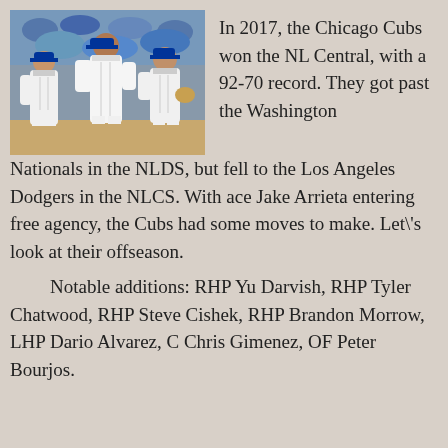[Figure (photo): Three Chicago Cubs players in white pinstripe uniforms standing on the baseball field, crowd visible in background.]
In 2017, the Chicago Cubs won the NL Central, with a 92-70 record. They got past the Washington Nationals in the NLDS, but fell to the Los Angeles Dodgers in the NLCS. With ace Jake Arrieta entering free agency, the Cubs had some moves to make. Let\'s look at their offseason.
Notable additions: RHP Yu Darvish, RHP Tyler Chatwood, RHP Steve Cishek, RHP Brandon Morrow, LHP Dario Alvarez, C Chris Gimenez, OF Peter Bourjos.